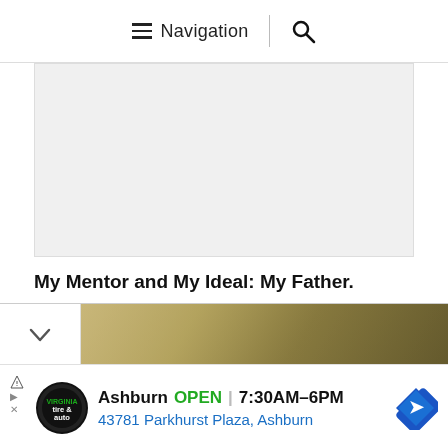Navigation
[Figure (other): Gray rectangular advertisement banner placeholder]
My Mentor and My Ideal: My Father.
[Figure (photo): Partial photo of a blonde woman outdoors with blurred background, with a chevron/down arrow button on the left]
[Figure (other): Advertisement: Virginia Tire & Auto logo. Ashburn OPEN 7:30AM–6PM. 43781 Parkhurst Plaza, Ashburn. Navigation arrow icon.]